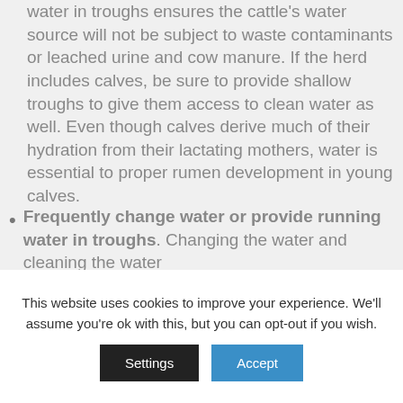water in troughs ensures the cattle's water source will not be subject to waste contaminants or leached urine and cow manure. If the herd includes calves, be sure to provide shallow troughs to give them access to clean water as well. Even though calves derive much of their hydration from their lactating mothers, water is essential to proper rumen development in young calves.
Frequently change water or provide running water in troughs. Changing the water and cleaning the water
This website uses cookies to improve your experience. We'll assume you're ok with this, but you can opt-out if you wish.